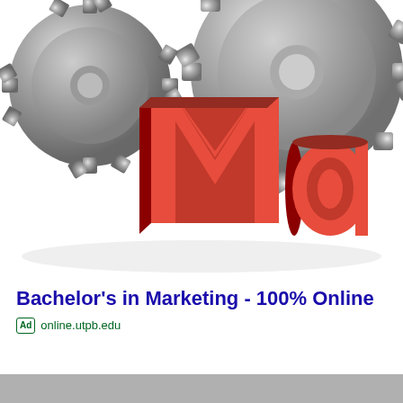[Figure (illustration): 3D rendered image of large red block letters 'Ma' in foreground with silver/metallic gear cogs in the background on a white surface, representing marketing concept]
Bachelor's in Marketing - 100% Online
Ad  online.utpb.edu